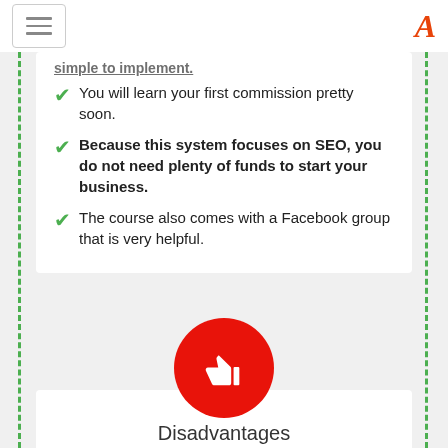simple to implement.
You will learn your first commission pretty soon.
Because this system focuses on SEO, you do not need plenty of funds to start your business.
The course also comes with a Facebook group that is very helpful.
[Figure (illustration): Red circle with white thumbs-down icon representing Disadvantages section]
Disadvantages